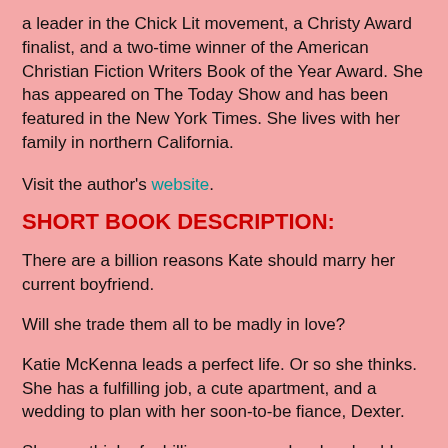a leader in the Chick Lit movement, a Christy Award finalist, and a two-time winner of the American Christian Fiction Writers Book of the Year Award. She has appeared on The Today Show and has been featured in the New York Times. She lives with her family in northern California.
Visit the author's website.
SHORT BOOK DESCRIPTION:
There are a billion reasons Kate should marry her current boyfriend.
Will she trade them all to be madly in love?
Katie McKenna leads a perfect life. Or so she thinks. She has a fulfilling job, a cute apartment, and a wedding to plan with her soon-to-be fiance, Dexter.
She can think of a billion reasons why she should marry Dexter... but nowhere on that list is love.